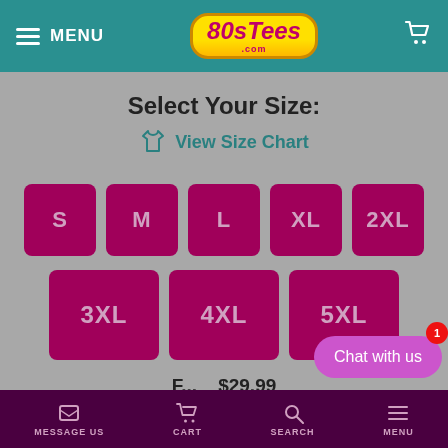MENU  80sTees.com  [cart]
Select Your Size:
View Size Chart
S
M
L
XL
2XL
3XL
4XL
5XL
Chat with us
F...  $29.99
MESSAGE US  CART  SEARCH  MENU